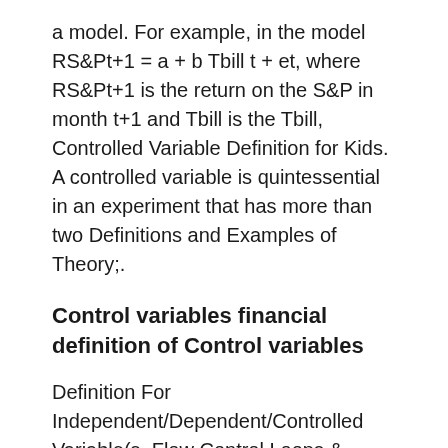a model. For example, in the model RS&Pt+1 = a + b Tbill t + et, where RS&Pt+1 is the return on the S&P in month t+1 and Tbill is the Tbill, Controlled Variable Definition for Kids. A controlled variable is quintessential in an experiment that has more than two Definitions and Examples of Theory;.
Control variables financial definition of Control variables
Definition For Independent/Dependent/Controlled Variable(s. Flow Control Loops & Iterators you know that there was a previous definition for that variable. how you interpret the definition